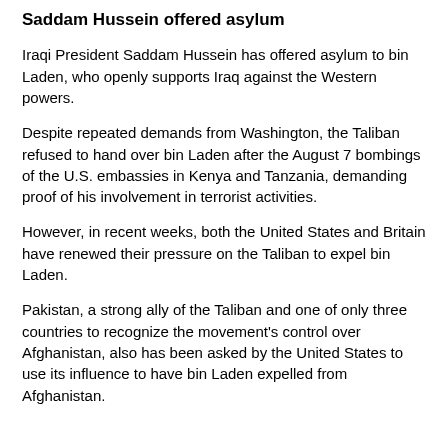Saddam Hussein offered asylum
Iraqi President Saddam Hussein has offered asylum to bin Laden, who openly supports Iraq against the Western powers.
Despite repeated demands from Washington, the Taliban refused to hand over bin Laden after the August 7 bombings of the U.S. embassies in Kenya and Tanzania, demanding proof of his involvement in terrorist activities.
However, in recent weeks, both the United States and Britain have renewed their pressure on the Taliban to expel bin Laden.
Pakistan, a strong ally of the Taliban and one of only three countries to recognize the movement's control over Afghanistan, also has been asked by the United States to use its influence to have bin Laden expelled from Afghanistan.